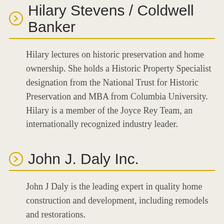Hilary Stevens / Coldwell Banker
Hilary lectures on historic preservation and home ownership. She holds a Historic Property Specialist designation from the National Trust for Historic Preservation and MBA from Columbia University. Hilary is a member of the Joyce Rey Team, an internationally recognized industry leader.
John J. Daly Inc.
John J Daly is the leading expert in quality home construction and development, including remodels and restorations.